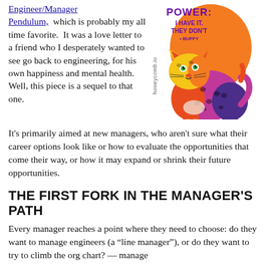Engineer/Manager Pendulum, which is probably my all time favorite. It was a love letter to a friend who I desperately wanted to see go back to engineering, for his own happiness and mental health. Well, this piece is a sequel to that one.
[Figure (illustration): Colorful illustrated leopard/cheetah cub with text overlay on orange background reading 'POWER: I HAVE IT. THEY DON'T · BUFFY'. The leopard is multicolored in purple, pink, orange and blue. Watermark text 'honeycomb.io' appears vertically on the left side of the image.]
It's primarily aimed at new managers, who aren't sure what their career options look like or how to evaluate the opportunities that come their way, or how it may expand or shrink their future opportunities.
THE FIRST FORK IN THE MANAGER'S PATH
Every manager reaches a point where they need to choose: do they want to manage engineers (a "line manager"), or do they want to try to climb the org chart? — manage